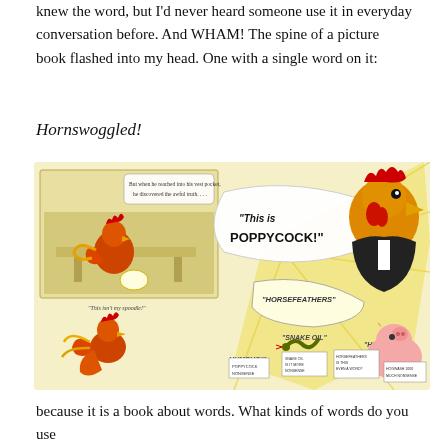knew the word, but I'd never heard someone use it in everyday conversation before. And WHAM! The spine of a picture book flashed into my head. One with a single word on it:
Hornswoggled!
[Figure (illustration): Illustration from a children's picture book featuring cartoon rooster and pig characters with speech bubbles and signs saying 'This is POPPYCOCK!', 'HORSEFEATHERS', 'SNAKE OIL', 'HUMBUG!', 'HOGWASH!', and protest signs with similar nonsense words. Left panel shows a rooster in a cluttered scene with caption 'But when he reached into his vest pocket, he discovered the awful truth....' and smaller text 'This isn't my spoodle!']
because it is a book about words. What kinds of words do you use